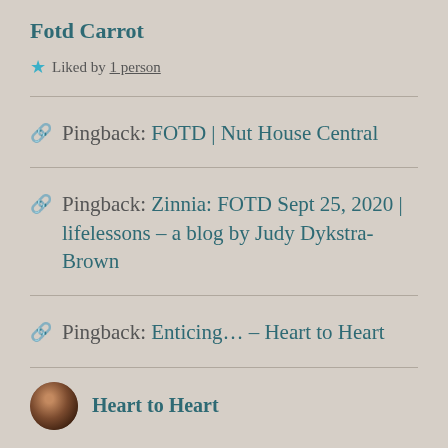Fotd Carrot
★ Liked by 1 person
Pingback: FOTD | Nut House Central
Pingback: Zinnia: FOTD Sept 25, 2020 | lifelessons – a blog by Judy Dykstra-Brown
Pingback: Enticing… – Heart to Heart
Heart to Heart